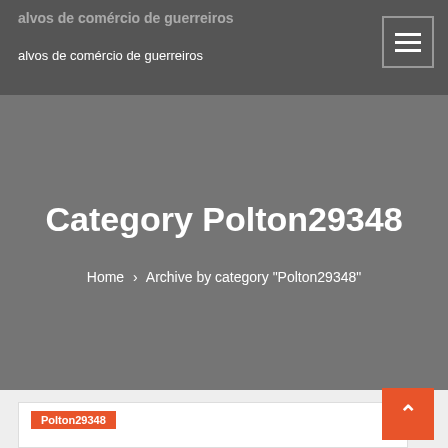alvos de comércio de guerreiros
Category Polton29348
Home › Archive by category "Polton29348"
Polton29348